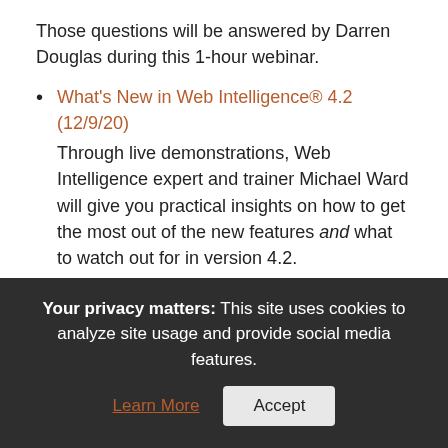Those questions will be answered by Darren Douglas during this 1-hour webinar.
What's New in Web Intelligence® 4.2 (12/9/20) – Through live demonstrations, Web Intelligence expert and trainer Michael Ward will give you practical insights on how to get the most out of the new features and what to watch out for in version 4.2.
What's New in .NET 5 and C# 9
Your privacy matters: This site uses cookies to analyze site usage and provide social media features. Learn More | Accept